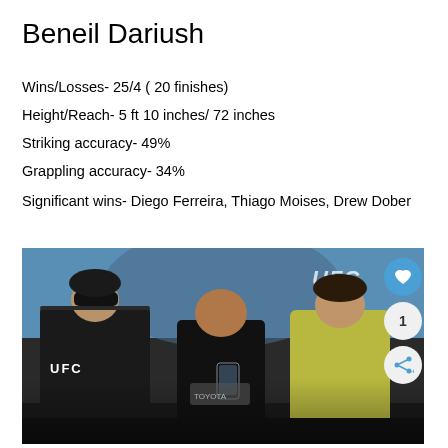Beneil Dariush
Wins/Losses- 25/4 ( 20 finishes)
Height/Reach- 5 ft 10 inches/ 72 inches
Striking accuracy- 49%
Grappling accuracy- 34%
Significant wins- Diego Ferreira, Thiago Moises, Drew Dober
[Figure (photo): Two MMA fighters facing off during a staredown at a UFC event, with a third person (likely Dana White) standing between them holding a phone. The fighter on the left wears a black UFC hoodie and sunglasses, the one on the right wears a yellow t-shirt. A UFC logo is visible on a screen in the background.]